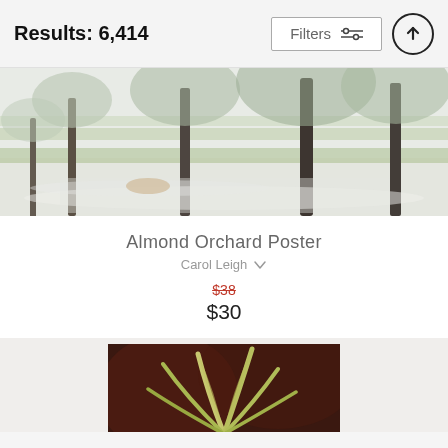Results: 6,414
[Figure (photo): Wide panoramic photo of an almond orchard with rows of trees, white blossoms on the ground, muted green and white tones]
Almond Orchard Poster
Carol Leigh
$38 (original, strikethrough) $30 (sale price)
[Figure (photo): Partial view of a painting showing a plant with long leaves against a dark reddish-brown background]